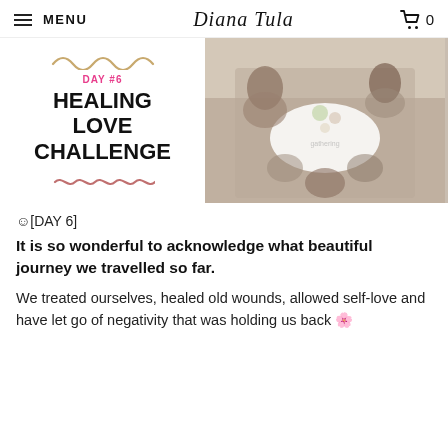MENU | Diana Tula | 🛒 0
[Figure (photo): Header banner combining a decorative card with 'DAY #6 HEALING LOVE CHALLENGE' text and wavy gold/pink decorations on the left, and a photo of women gathered at a picnic table with flowers on the right.]
😊​[DAY 6]
It is so wonderful to acknowledge what beautiful journey we travelled so far.
We treated ourselves, healed old wounds, allowed self-love and have let go of negativity that was holding us back 🌸